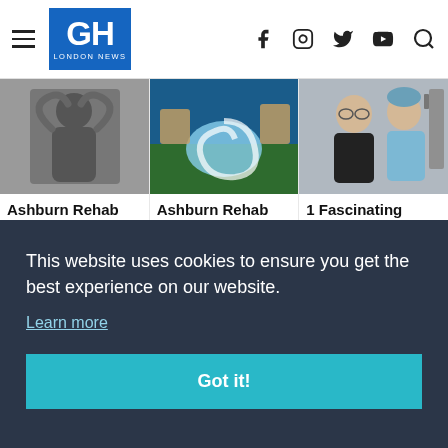GH LONDON NEWS
[Figure (photo): Black and white photo of a person with hands on their head]
[Figure (photo): Aerial photo of a luxury resort with a spiral pool]
[Figure (photo): Two men standing side by side, one in black jacket one in scrubs]
Ashburn Rehab Centers Yo...
Ashburn Rehab Centers Yo...
1 Fascinating "Healthy"...
This website uses cookies to ensure you get the best experience on our website.
Learn more
Got it!